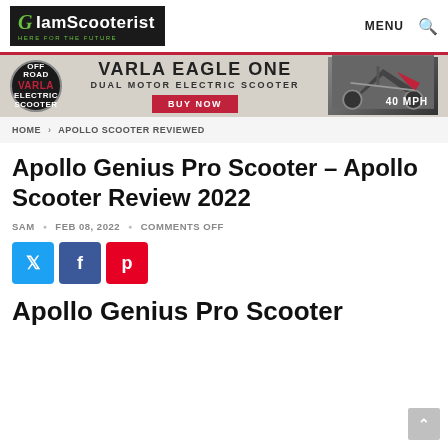IamScooterist — HERE FOR THE FUTURE | MENU 🔍
[Figure (infographic): Varla Eagle One advertisement banner — Dual Motor Electric Scooter, BUY NOW, 40 MPH]
HOME › APOLLO SCOOTER REVIEWED
Apollo Genius Pro Scooter – Apollo Scooter Review 2022
SAM • FEB 08, 2022 • COMMENTS OFF
[Figure (infographic): Social share buttons: Twitter (blue), Facebook (dark blue), Pinterest (red)]
Apollo Genius Pro Scooter